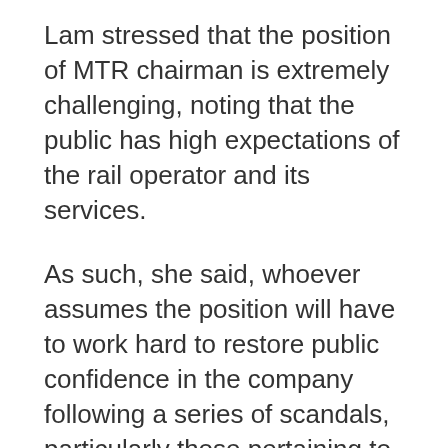Lam stressed that the position of MTR chairman is extremely challenging, noting that the public has high expectations of the rail operator and its services.
As such, she said, whoever assumes the position will have to work hard to restore public confidence in the company following a series of scandals, particularly those pertaining to work flaws at the construction of the Hung Hom Station extension for the Shatin-Central Link (SCL) project.
The chief executive said the government will continue to work with MTR to explore new rail projects.
Asked by media about Auyeung succeeding him, Ma said he would not answer hypothetical questions